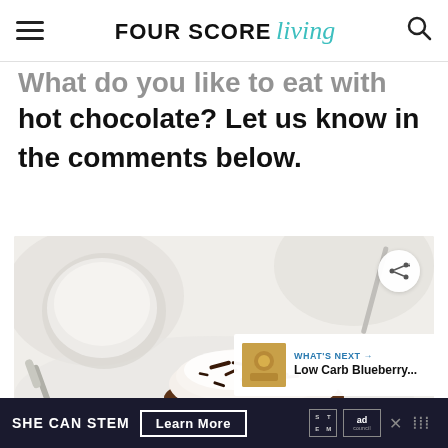FOUR SCORE living
What do you like to eat with your keto hot chocolate? Let us know in the comments below.
[Figure (photo): Photo of a keto hot chocolate drink with whipped cream and chocolate shavings on top, mug and spoon visible in background, white marble surface]
WHAT'S NEXT → Low Carb Blueberry...
SHE CAN STEM  Learn More